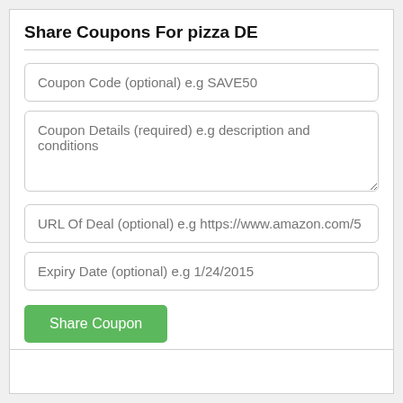Share Coupons For pizza DE
Coupon Code (optional) e.g SAVE50
Coupon Details (required) e.g description and conditions
URL Of Deal (optional) e.g https://www.amazon.com/5
Expiry Date (optional) e.g 1/24/2015
Share Coupon